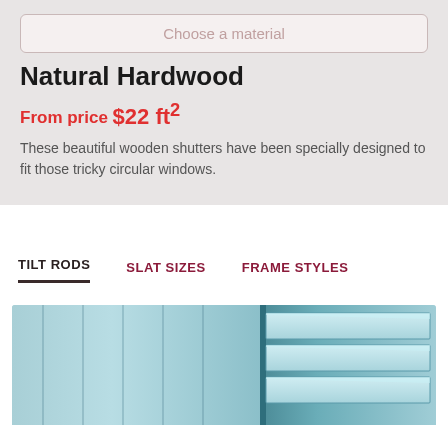Choose a material
Natural Hardwood
From price $22 ft2
These beautiful wooden shutters have been specially designed to fit those tricky circular windows.
TILT RODS
SLAT SIZES
FRAME STYLES
[Figure (photo): Close-up photo of light teal/blue-green window shutters showing slat detail and frame]